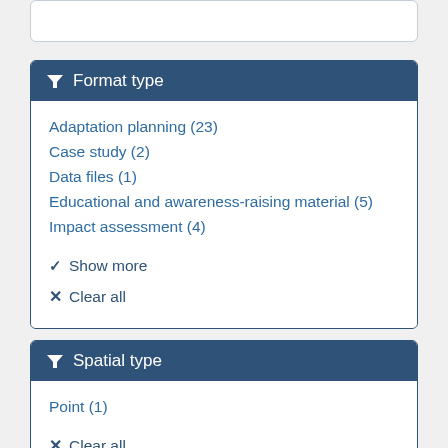Format type
Adaptation planning (23)
Case study (2)
Data files (1)
Educational and awareness-raising material (5)
Impact assessment (4)
Show more
Clear all
Spatial type
Point (1)
Clear all